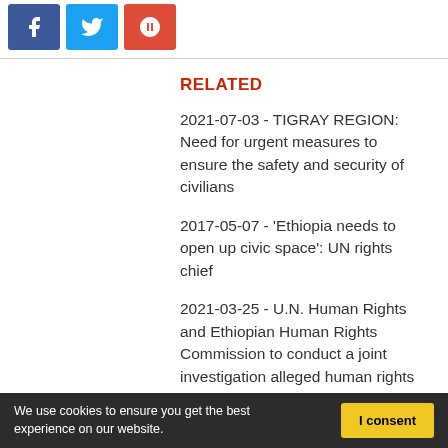[Figure (other): Social media share buttons: Facebook (blue), Twitter (light blue), Google+ (red)]
RELATED
2021-07-03 - TIGRAY REGION: Need for urgent measures to ensure the safety and security of civilians
2017-05-07 - 'Ethiopia needs to open up civic space': UN rights chief
2021-03-25 - U.N. Human Rights and Ethiopian Human Rights Commission to conduct a joint investigation alleged human rights abuses in Tigray
2020-11-15 - BENISHANGUL-GUMUZ
We use cookies to ensure you get the best experience on our website.